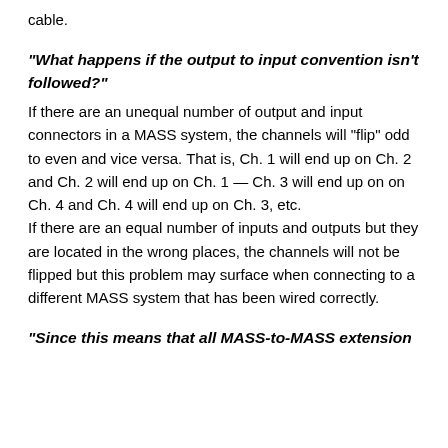cable.
"What happens if the output to input convention isn't followed?"
If there are an unequal number of output and input connectors in a MASS system, the channels will "flip" odd to even and vice versa. That is, Ch. 1 will end up on Ch. 2 and Ch. 2 will end up on Ch. 1 — Ch. 3 will end up on on Ch. 4 and Ch. 4 will end up on Ch. 3, etc.
If there are an equal number of inputs and outputs but they are located in the wrong places, the channels will not be flipped but this problem may surface when connecting to a different MASS system that has been wired correctly.
"Since this means that all MASS-to-MASS extension